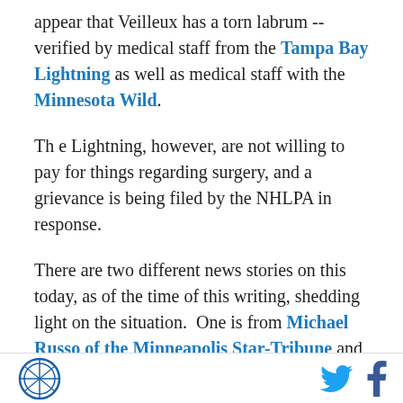appear that Veilleux has a torn labrum -- verified by medical staff from the Tampa Bay Lightning as well as medical staff with the Minnesota Wild.
Th e Lightning, however, are not willing to pay for things regarding surgery, and a grievance is being filed by the NHLPA in response.
There are two different news stories on this today, as of the time of this writing, shedding light on the situation.  One is from Michael Russo of the Minneapolis Star-Tribune and the other form Erik Erlendsson at the Tampa Tribune.
Oh, and Walsh on Twitter, grandstanding for his
[logo] [twitter] [facebook]